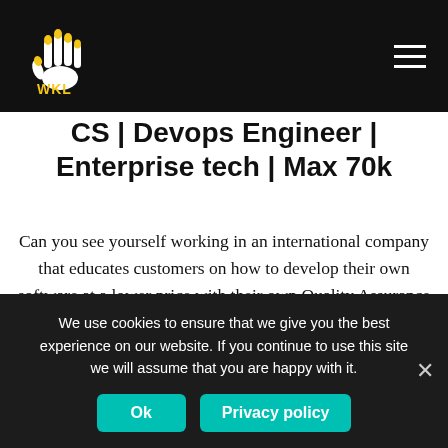WKL logo and navigation bar
CS | Devops Engineer | Amsterdam | Enterprise tech | Max 70k
Can you see yourself working in an international company that educates customers on how to develop their own software at a lower price with their own Quality Assurance platform?  If you want to make people happy, doing what you know best (aka coding), and spreading joy, search no more because we are
We use cookies to ensure that we give you the best experience on our website. If you continue to use this site we will assume that you are happy with it.